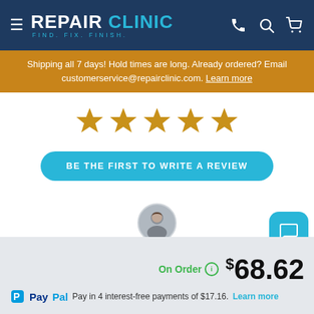REPAIR CLINIC — FIND. FIX. FINISH.
Shipping all 7 days! Hold times are long. Already ordered? Email customerservice@repairclinic.com. Learn more
[Figure (other): Five gold star rating icons displayed in a row]
BE THE FIRST TO WRITE A REVIEW
[Figure (photo): Small circular avatar photo of a man and a blue rounded-square chat button icon]
On Order  $68.62
PayPal Pay in 4 interest-free payments of $17.16. Learn more
1  ADD TO CART